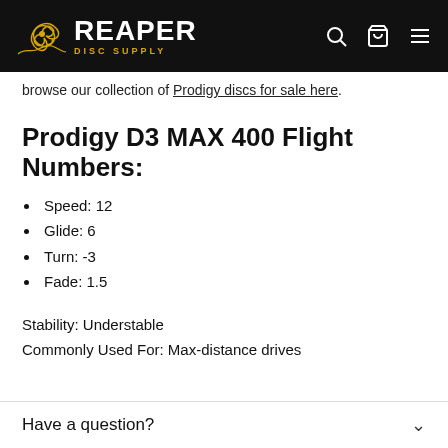REAPER DISC SUPPLY
browse our collection of Prodigy discs for sale here.
Prodigy D3 MAX 400 Flight Numbers:
Speed: 12
Glide: 6
Turn: -3
Fade: 1.5
Stability: Understable
Commonly Used For: Max-distance drives
Have a question?